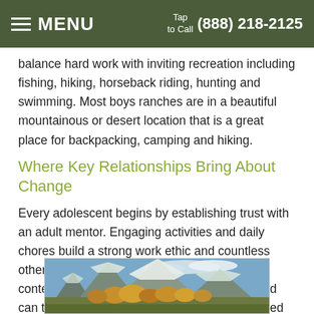MENU | Tap to Call (888) 218-2125
balance hard work with inviting recreation including fishing, hiking, horseback riding, hunting and swimming. Most boys ranches are in a beautiful mountainous or desert location that is a great place for backpacking, camping and hiking.
Where Key Relationships Bring About Change
Every adolescent begins by establishing trust with an adult mentor. Engaging activities and daily chores build a strong work ethic and countless other desirable character qualities. Then, in context of a relationship with a mentor, the child can tackle the conflicts that had caused the need for intervention. Boys ranches also usually provide individual and group counseling to bring change in attitudes and behaviors.
[Figure (photo): Mountain landscape with snow-capped peaks, golden autumn trees in the foreground, and blue sky with clouds.]